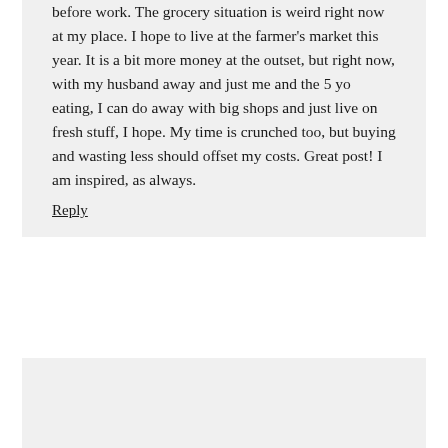before work. The grocery situation is weird right now at my place. I hope to live at the farmer's market this year. It is a bit more money at the outset, but right now, with my husband away and just me and the 5 yo eating, I can do away with big shops and just live on fresh stuff, I hope. My time is crunched too, but buying and wasting less should offset my costs. Great post! I am inspired, as always.
Reply